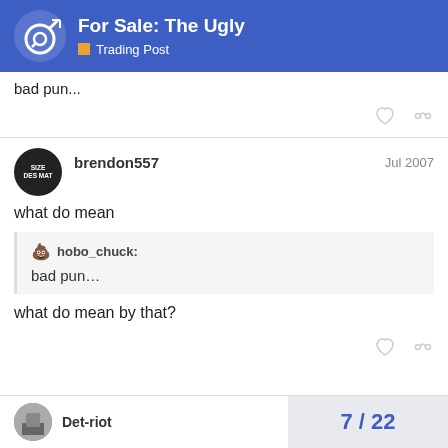For Sale: The Ugly — Trading Post
bad pun...
brendon557  Jul 2007
what do mean
hobo_chuck: bad pun...
what do mean by that?
Det-riot  7 / 22